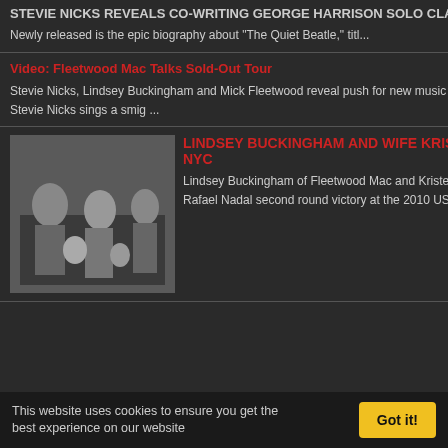STEVIE NICKS REVEALS CO-WRITING GEORGE HARRISON SOLO CLASSIC Newly released is the epic biography about "The Quiet Beatle," titl...
Video: Fleetwood Mac Talks Sold-Out Tour — Stevie Nicks, Lindsey Buckingham and Mick Fleetwood reveal push for new music as they get ready for 2013 tour. Stevie Nicks sings a smig ...
LINDSEY BUCKINGHAM AND WIFE KRISTEN ATTEND US OPEN IN NYC — Lindsey Buckingham of Fleetwood Mac and Kristen Messner Buckingham attend Rafael Nadal second round victory at the 2010 US Open at Flushing...
Mick Fleetwood and Anthony Bozza
Labels: Mick Fleetwood
36 comments:
Maury said... Stick to your guns Ste material live (include 14 March 2012 at 23:
Anonymous said... A tour means nothing fresh. I can't be the o 14 March 2012 at 23:
Anonymous said... I agree. It would be s greatest hits tour with engaging I've seen he tour. Rumours seer
This website uses cookies to ensure you get the best experience on our website